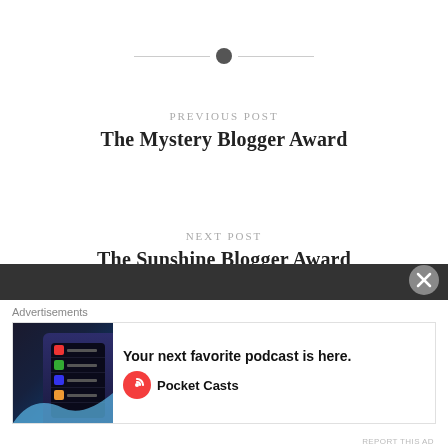PREVIOUS POST
The Mystery Blogger Award
NEXT POST
The Sunshine Blogger Award
Advertisements
Your next favorite podcast is here. Pocket Casts